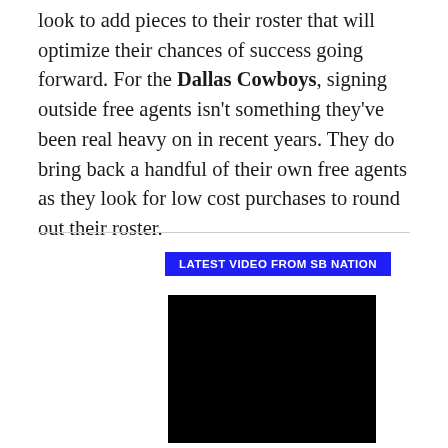look to add pieces to their roster that will optimize their chances of success going forward. For the Dallas Cowboys, signing outside free agents isn't something they've been real heavy on in recent years. They do bring back a handful of their own free agents as they look for low cost purchases to round out their roster.
LATEST VIDEO FROM SB NATION
[Figure (other): Black video player placeholder rectangle]